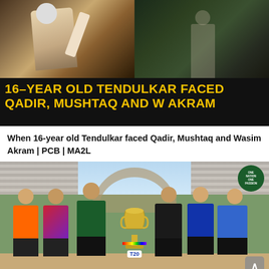[Figure (photo): Dark-background cricket thumbnail showing a young Sachin Tendulkar batting on the left panel and a bowler silhouette on the right, with bold yellow headline text: '16-YEAR OLD TENDULKAR FACED QADIR, MUSHTAQ AND W AKRAM']
When 16-year old Tendulkar faced Qadir, Mushtaq and Wasim Akram | PCB | MA2L
[Figure (photo): Six cricket team captains standing in a row outdoors at a stadium with a trophy on a stand in the center. Players wear different coloured jerseys (orange, red/purple, green, black, blue, light blue). Pakistan Monument visible in the background. T20 logo on trophy base. ONE NATION ONE PASSION badge top right.]